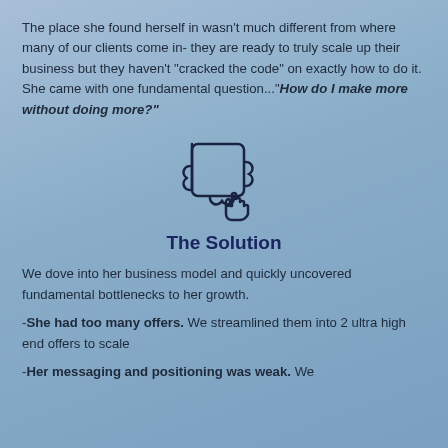The place she found herself in wasn't much different from where many of our clients come in- they are ready to truly scale up their business but they haven't "cracked the code" on exactly how to do it. She came with one fundamental question..."How do I make more without doing more?"
[Figure (illustration): Puzzle pieces icon — two interlocking puzzle pieces with a hand]
The Solution
We dove into her business model and quickly uncovered fundamental bottlenecks to her growth.
-She had too many offers. We streamlined them into 2 ultra high end offers to scale
-Her messaging and positioning was weak. We